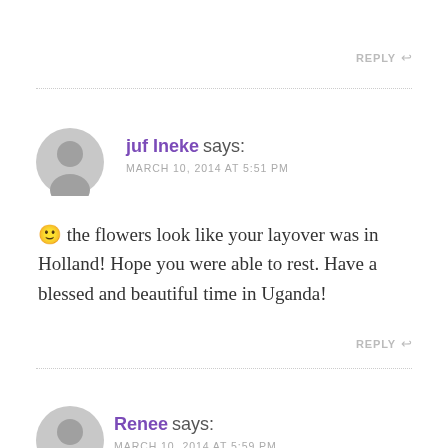REPLY ↩
juf Ineke says:
MARCH 10, 2014 AT 5:51 PM
🙂 the flowers look like your layover was in Holland! Hope you were able to rest. Have a blessed and beautiful time in Uganda!
REPLY ↩
Renee says:
MARCH 10, 2014 AT 5:59 PM
Linny, your post could not have come at a better time, in fact I know it can in God's timing! For the past now 5 months we